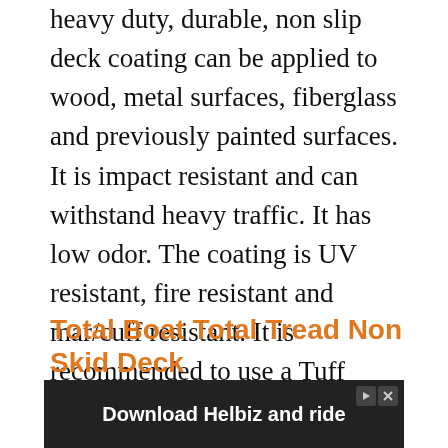heavy duty, durable, non slip deck coating can be applied to wood, metal surfaces, fiberglass and previously painted surfaces. It is impact resistant and can withstand heavy traffic. It has low odor. The coating is UV resistant, fire resistant and mar/cuff resistant. It is recommended to use a Tuff Coat Primer before applying the layer. The coating has a flexible matte finish and dries to 30-35 mils of thickness. It can hide imperfections if any on the surface. It can also improve the existing non skid finish for added safety. Available in 15 color variants, the non skid coating can last up to 5 years before requiring an additional layer.
Total Boat Total Tread Non Skid Deck
[Figure (photo): Advertisement banner: dark background with white bold text 'Download Helbiz and ride' with play and close icons in top right corner]